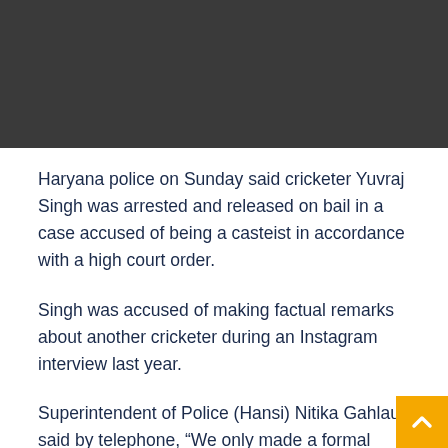[Figure (photo): Dark grey/black image block at top of page, appears to be a photo header with dark background]
Haryana police on Sunday said cricketer Yuvraj Singh was arrested and released on bail in a case accused of being a casteist in accordance with a high court order.
Singh was accused of making factual remarks about another cricketer during an Instagram interview last year.
Superintendent of Police (Hansi) Nitika Gahlaut said by telephone, “We only made a formal arrest and he was released on bail in compliance of the